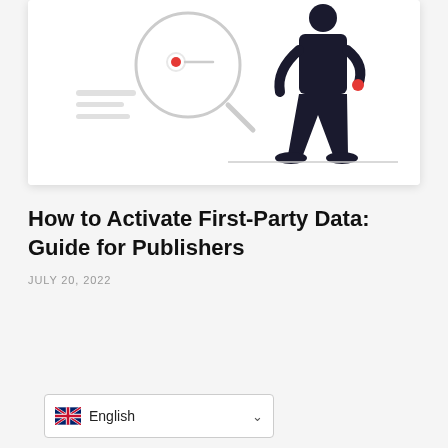[Figure (illustration): Illustration of a person in a dark suit walking, alongside a magnifying glass with a red dot and document elements, on a white card background]
How to Activate First-Party Data: Guide for Publishers
JULY 20, 2022